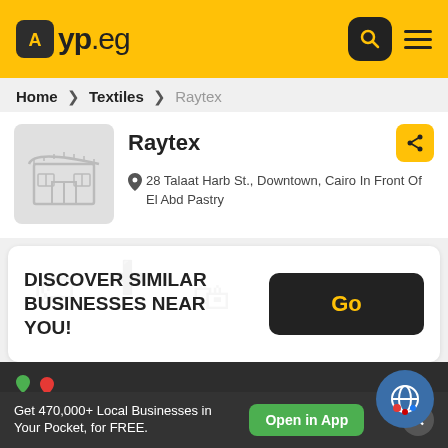yp.eg
Home > Textiles > Raytex
Raytex
28 Talaat Harb St., Downtown, Cairo In Front Of El Abd Pastry
DISCOVER SIMILAR BUSINESSES NEAR YOU!
Go
Get 470,000+ Local Businesses in Your Pocket, for FREE.   Open in App